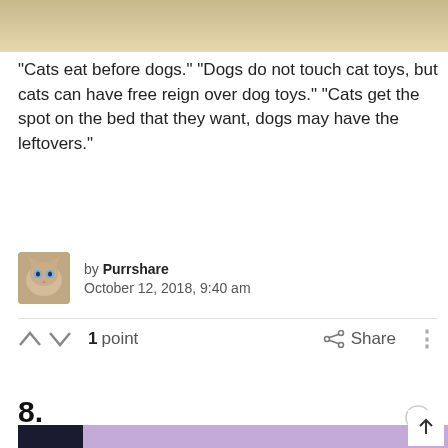[Figure (photo): Top portion of a photo, likely showing a cat or animal scene with warm beige/tan tones]
“Cats eat before dogs.” “Dogs do not touch cat toys, but cats can have free reign over dog toys.” “Cats get the spot on the bed that they want, dogs may have the leftovers.”
by Purrshare
October 12, 2018, 9:40 am
1 point   Share
8.
[Figure (photo): Photo of a bathroom wall with a white GFCI electrical outlet and switch plate, purple/pink ambient lighting, and a hand visible at the bottom]